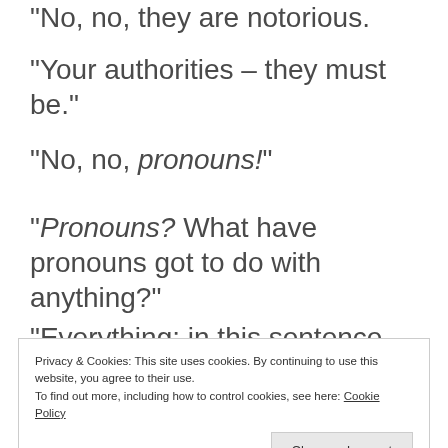“No, no, they are notorious.
“Your authorities – they must be.”
“No, no, pronouns!”
“Pronouns? What have pronouns got to do with anything?”
“Everything: in this sentence, ‘one’ is a pronoun.”
Privacy & Cookies: This site uses cookies. By continuing to use this website, you agree to their use.
To find out more, including how to control cookies, see here: Cookie Policy
a noun.”